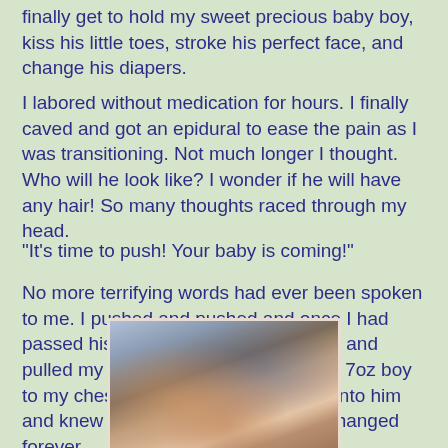finally get to hold my sweet precious baby boy, kiss his little toes, stroke his perfect face, and change his diapers.
I labored without medication for hours. I finally caved and got an epidural to ease the pain as I was transitioning. Not much longer I thought. Who will he look like? I wonder if he will have any hair! So many thoughts raced through my head.
"It's time to push! Your baby is coming!"
No more terrifying words had ever been spoken to me. I pushed and pushed and once I had passed his shoulders, I reached down and pulled my perfect, beautiful, sweet 7lb 7oz boy to my chest just after 1:00am. I held onto him and knew in that moment that I was changed forever.
[Figure (photo): Photo of a mother holding her newborn baby, both visible in close-up, mother wearing blue clothing]